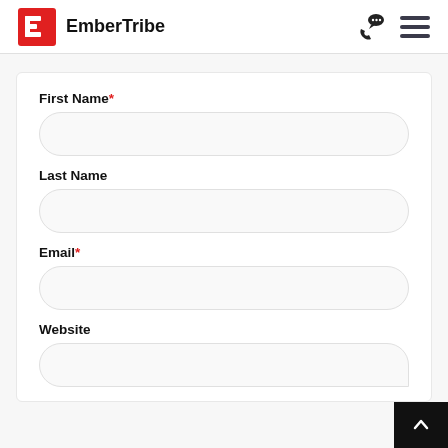EmberTribe
First Name*
Last Name
Email*
Website